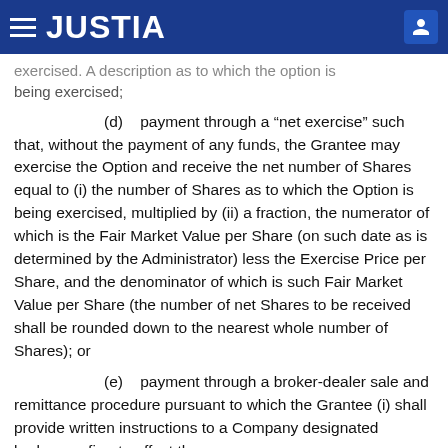JUSTIA
exercised. A description as to which the option is being exercised;
(d)    payment through a “net exercise” such that, without the payment of any funds, the Grantee may exercise the Option and receive the net number of Shares equal to (i) the number of Shares as to which the Option is being exercised, multiplied by (ii) a fraction, the numerator of which is the Fair Market Value per Share (on such date as is determined by the Administrator) less the Exercise Price per Share, and the denominator of which is such Fair Market Value per Share (the number of net Shares to be received shall be rounded down to the nearest whole number of Shares); or
(e)    payment through a broker-dealer sale and remittance procedure pursuant to which the Grantee (i) shall provide written instructions to a Company designated brokerage firm to effect the